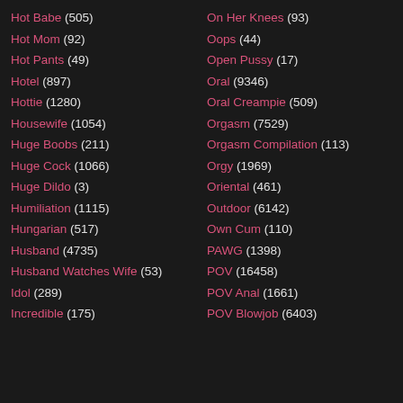Hot Babe (505)
Hot Mom (92)
Hot Pants (49)
Hotel (897)
Hottie (1280)
Housewife (1054)
Huge Boobs (211)
Huge Cock (1066)
Huge Dildo (3)
Humiliation (1115)
Hungarian (517)
Husband (4735)
Husband Watches Wife (53)
Idol (289)
Incredible (175)
On Her Knees (93)
Oops (44)
Open Pussy (17)
Oral (9346)
Oral Creampie (509)
Orgasm (7529)
Orgasm Compilation (113)
Orgy (1969)
Oriental (461)
Outdoor (6142)
Own Cum (110)
PAWG (1398)
POV (16458)
POV Anal (1661)
POV Blowjob (6403)